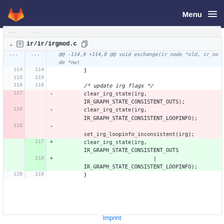ir/ir/irgmod.c — GitLab diff view
[Figure (screenshot): GitLab navigation bar with fox logo and Menu button]
... ...
ir/ir/irgmod.c
| old | new | sign | code |
| --- | --- | --- | --- |
| ... | ... |  | @@ -114,9 +114,8 @@ void exchange(ir_node *old, ir_node *nw) |
| 114 | 114 |  |         } |
| 115 | 115 |  |  |
| 116 | 116 |  |         /* update irg flags */ |
| 117 |  | - |         clear_irg_state(irg, IR_GRAPH_STATE_CONSISTENT_OUTS); |
| 118 |  | - |         clear_irg_state(irg, IR_GRAPH_STATE_CONSISTENT_LOOPINFO); |
| 119 |  | - |         set_irg_loopinfo_inconsistent(irg); |
|  | 117 | + |         clear_irg_state(irg, IR_GRAPH_STATE_CONSISTENT_OUTS |
|  | 118 | + |                               | IR_GRAPH_STATE_CONSISTENT_LOOPINFO); |
| 120 | 119 |  |         } |
Imprint